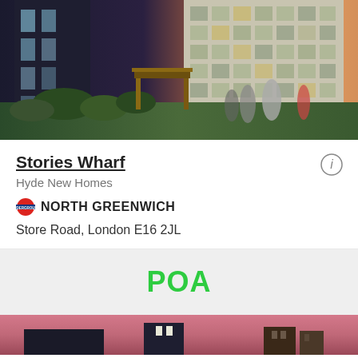[Figure (photo): Architectural rendering of Stories Wharf development showing modern residential buildings with a courtyard, pergola structure, and people in foreground at dusk]
Stories Wharf
Hyde New Homes
NORTH GREENWICH
Store Road, London E16 2JL
POA
[Figure (photo): Bottom portion of another property listing photo showing rooftops at dusk with pink/purple sky]